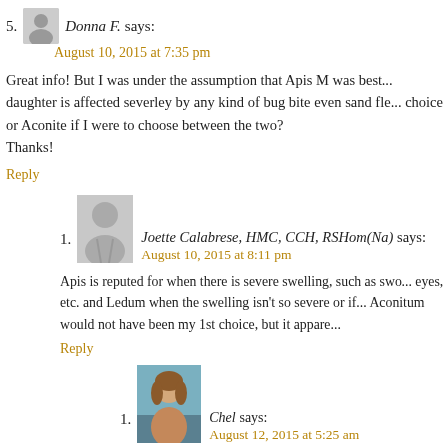5. Donna F. says:
August 10, 2015 at 7:35 pm
Great info! But I was under the assumption that Apis M was best... daughter is affected severley by any kind of bug bite even sand fle... choice or Aconite if I were to choose between the two? Thanks!
Reply
1. Joette Calabrese, HMC, CCH, RSHom(Na) says:
August 10, 2015 at 8:11 pm
Apis is reputed for when there is severe swelling, such as swo... eyes, etc. and Ledum when the swelling isn't so severe or if... Aconitum would not have been my 1st choice, but it appare...
Reply
1. Chel says:
August 12, 2015 at 5:25 am
I have a real problem with mosquitoes in Florida wher... I scratch till I bleed. If it weren't for Ledum 30, I'd be... ing. I have difficulty with Sal...